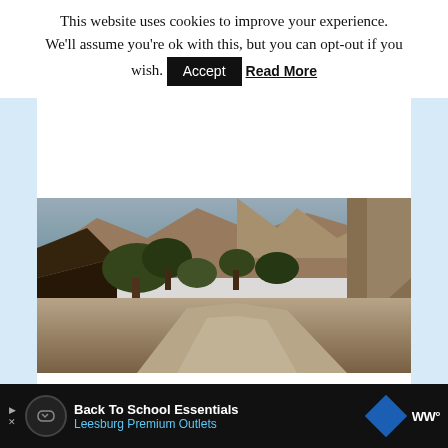This website uses cookies to improve your experience. We'll assume you're ok with this, but you can opt-out if you wish. Accept Read More
[Figure (photo): Photograph of a canyon trail with red rock formations, trees, and a path — photo credit Uprooted Traveler]
Photo credit: Uprooted Traveler
10. The Watchman Trail
Distance: 3.1 miles (5 km) out and back with 646 ft (197 meters) elevation gain
Difficulty: Moderate. Takes approx 2 hours.